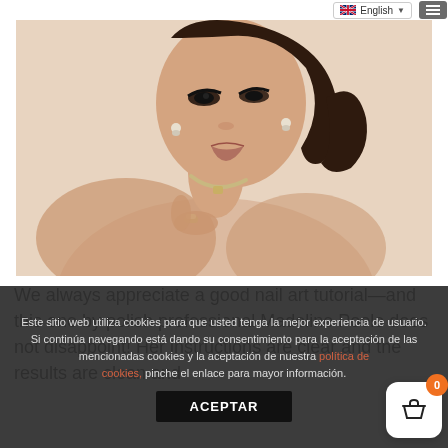English
[Figure (photo): Fashion/beauty photo of a young woman with smoky eye makeup, diamond earrings, a jeweled necklace and ring, posed against a beige background with her hand near her collarbone.]
We always appreciate a good nail art tutorial—and this one by polish professional Madeline Poole does not disappoint! Her instructions are clear and the results are clean and
Este sitio web utiliza cookies para que usted tenga la mejor experiencia de usuario. Si continúa navegando está dando su consentimiento para la aceptación de las mencionadas cookies y la aceptación de nuestra política de cookies, pinche el enlace para mayor información.
ACEPTAR